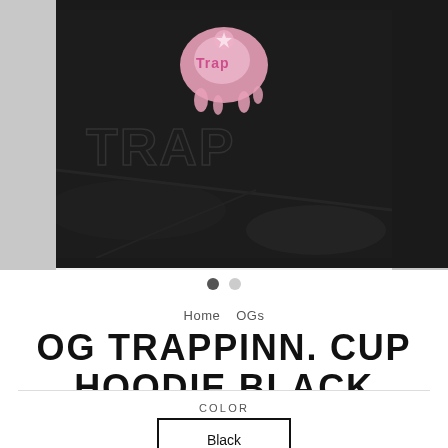[Figure (photo): Product photo of a black hoodie with a pink Trappinn Cup graphic on the front, shown on a dark background. Carousel dots below indicate two images.]
Home  OGs
OG TRAPPINN. CUP HOODIE BLACK
$40.00
COLOR
Black